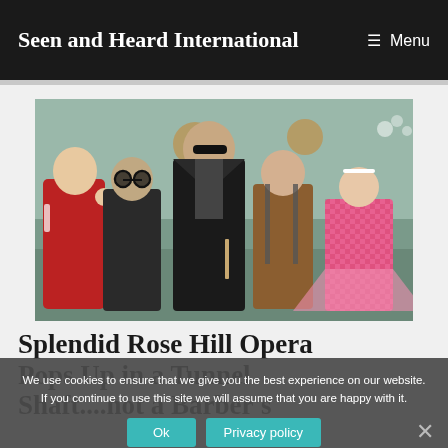Seen and Heard International   ☰ Menu
[Figure (photo): Group of five young people in retro/vintage costumes posed together in an indoor setting. From left: a man in a red tracksuit, a man with round dark glasses in a dark jacket, a taller man in a dark blazer with sunglasses, a young man in a brown shirt with suspenders, and a young woman in a pink gingham dress.]
Splendid Rose Hill Opera Pops Up in a Tunnel Shaft....not a Barber's
We use cookies to ensure that we give you the best experience on our website. If you continue to use this site we will assume that you are happy with it.